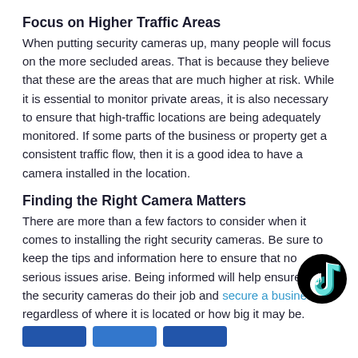Focus on Higher Traffic Areas
When putting security cameras up, many people will focus on the more secluded areas. That is because they believe that these are the areas that are much higher at risk. While it is essential to monitor private areas, it is also necessary to ensure that high-traffic locations are being adequately monitored. If some parts of the business or property get a consistent traffic flow, then it is a good idea to have a camera installed in the location.
Finding the Right Camera Matters
There are more than a few factors to consider when it comes to installing the right security cameras. Be sure to keep the tips and information here to ensure that no serious issues arise. Being informed will help ensure that the security cameras do their job and secure a business, regardless of where it is located or how big it may be.
[Figure (logo): TikTok logo — black circle with white musical note icon]
[Figure (other): Three social sharing buttons at bottom of page]